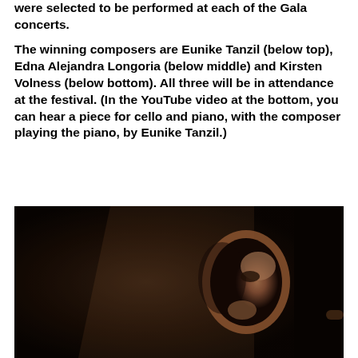were selected to be performed at each of the Gala concerts.
The winning composers are Eunike Tanzil (below top), Edna Alejandra Longoria (below middle) and Kirsten Volness (below bottom). All three will be in attendance at the festival. (In the YouTube video at the bottom, you can hear a piece for cello and piano, with the composer playing the piano, by Eunike Tanzil.)
[Figure (photo): A dark photograph showing a person's face tilted/sideways, with warm brown/tan tones in the background. The image appears to be a portrait shot in low-key lighting.]